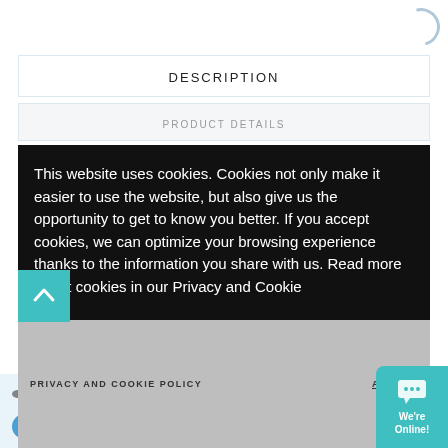DESCRIPTION
PRODUCT DETAILS
This website uses cookies. Cookies not only make it easier to use the website, but also give us the opportunity to get to know you better. If you accept cookies, we can optimize your browsing experience thanks to the information you share with us. Read more about cookies in our Privacy and Cookie Policy.
PRIVACY AND COOKIE POLICY   ACCEPT
VEXIQ 1x2 Beam (20-pack)
€7.25
Add to cart
We're Online!